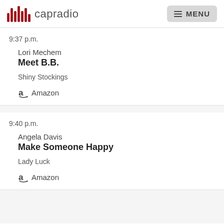capradio MENU
9:37 p.m.
Lori Mechem
Meet B.B.
Shiny Stockings
Amazon
9:40 p.m.
Angela Davis
Make Someone Happy
Lady Luck
Amazon